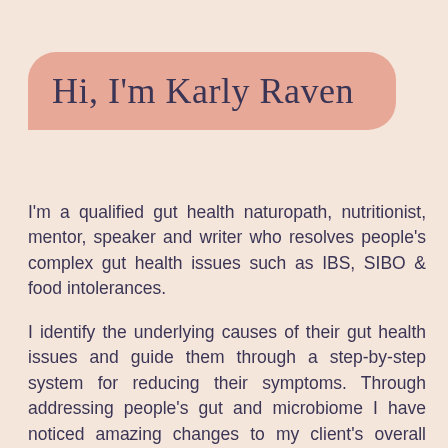Hi, I'm Karly Raven
I'm a qualified gut health naturopath, nutritionist, mentor, speaker and writer who resolves people's complex gut health issues such as IBS, SIBO & food intolerances.
I identify the underlying causes of their gut health issues and guide them through a step-by-step system for reducing their symptoms. Through addressing people's gut and microbiome I have noticed amazing changes to my client's overall wellbeing including increased energy,